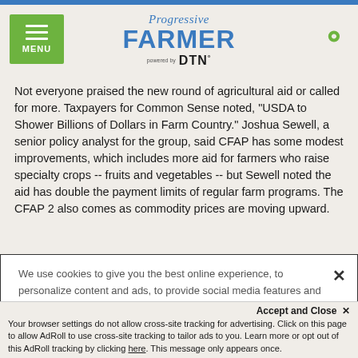Progressive FARMER powered by DTN
Not everyone praised the new round of agricultural aid or called for more. Taxpayers for Common Sense noted, "USDA to Shower Billions of Dollars in Farm Country." Joshua Sewell, a senior policy analyst for the group, said CFAP has some modest improvements, which includes more aid for farmers who raise specialty crops -- fruits and vegetables -- but Sewell noted the aid has double the payment limits of regular farm programs. The CFAP 2 also comes as commodity prices are moving upward.
We use cookies to give you the best online experience, to personalize content and ads, to provide social media features and to analyze traffic. By clicking 'Accept All Cookies' you will allow the use of these cookies. Your settings can be changed, including withdrawing your consent at any time, by clicking 'Cookie Settings'. Find out more on how we and third parties use cookies in our Cookie Policy
Accept and Close ✕
Your browser settings do not allow cross-site tracking for advertising. Click on this page to allow AdRoll to use cross-site tracking to tailor ads to you. Learn more or opt out of this AdRoll tracking by clicking here. This message only appears once.